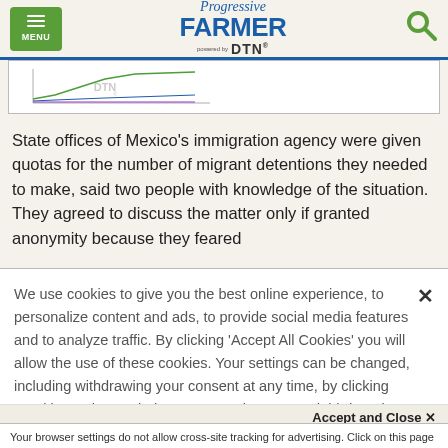Progressive FARMER powered by DTN
[Figure (continuous-plot): Small thumbnail of a line chart with multiple colored lines, DTN watermark visible]
State offices of Mexico's immigration agency were given quotas for the number of migrant detentions they needed to make, said two people with knowledge of the situation. They agreed to discuss the matter only if granted anonymity because they feared
We use cookies to give you the best online experience, to personalize content and ads, to provide social media features and to analyze traffic. By clicking 'Accept All Cookies' you will allow the use of these cookies. Your settings can be changed, including withdrawing your consent at any time, by clicking 'Cookie Settings'. Find out more on how we and third parties use cookies in our  Cookie Policy
Accept and Close ×
Your browser settings do not allow cross-site tracking for advertising. Click on this page to allow AdRoll to use cross-site tracking to tailor ads to you. Learn more or opt out of this AdRoll tracking by clicking here. This message only appears once.